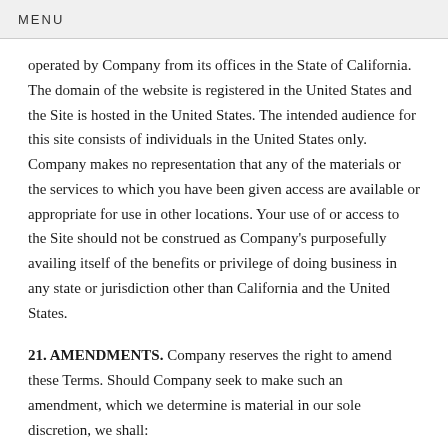MENU
operated by Company from its offices in the State of California. The domain of the website is registered in the United States and the Site is hosted in the United States. The intended audience for this site consists of individuals in the United States only. Company makes no representation that any of the materials or the services to which you have been given access are available or appropriate for use in other locations. Your use of or access to the Site should not be construed as Company's purposefully availing itself of the benefits or privilege of doing business in any state or jurisdiction other than California and the United States.
21. AMENDMENTS. Company reserves the right to amend these Terms. Should Company seek to make such an amendment, which we determine is material in our sole discretion, we shall: